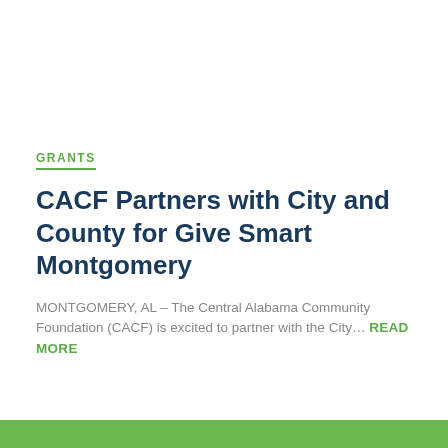GRANTS
CACF Partners with City and County for Give Smart Montgomery
MONTGOMERY, AL – The Central Alabama Community Foundation (CACF) is excited to partner with the City… READ MORE
Signs up for our Emails